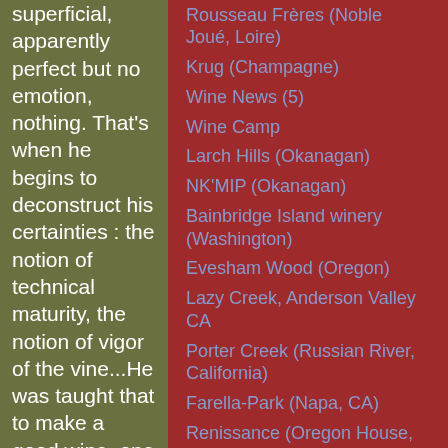superficial, apparently perfect but no emotion, nothing. That's when he begins to deconstruct his certainties : the notion of technical maturity, the notion of vigor of the vine...He was taught that to make a good wine, one needs a vineyard with vigor. That's
Rousseau Frères (Noble Joué, Loire)
Krug (Champagne)
Wine News (5)
Wine Camp
Larch Hills (Okanagan)
NK'MIP (Okanagan)
Bainbridge Island winery (Washington)
Evesham Wood (Oregon)
Lazy Creek, Anderson Valley CA
Porter Creek (Russian River, California)
Farella-Park (Napa, CA)
Renissance (Oregon House,